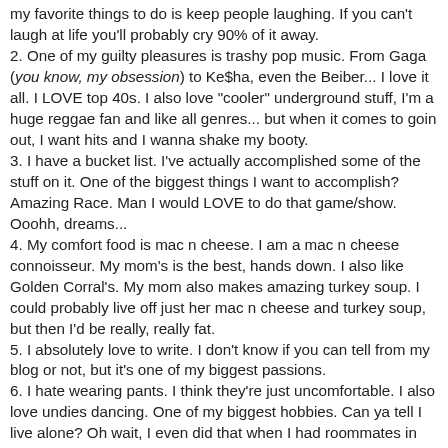my favorite things to do is keep people laughing. If you can't laugh at life you'll probably cry 90% of it away.
2. One of my guilty pleasures is trashy pop music. From Gaga (you know, my obsession) to Ke$ha, even the Beiber... I love it all. I LOVE top 40s. I also love "cooler" underground stuff, I'm a huge reggae fan and like all genres... but when it comes to goin out, I want hits and I wanna shake my booty.
3. I have a bucket list. I've actually accomplished some of the stuff on it. One of the biggest things I want to accomplish? Amazing Race. Man I would LOVE to do that game/show. Ooohh, dreams...
4. My comfort food is mac n cheese. I am a mac n cheese connoisseur. My mom's is the best, hands down. I also like Golden Corral's. My mom also makes amazing turkey soup. I could probably live off just her mac n cheese and turkey soup, but then I'd be really, really fat.
5. I absolutely love to write. I don't know if you can tell from my blog or not, but it's one of my biggest passions.
6. I hate wearing pants. I think they're just uncomfortable. I also love undies dancing. One of my biggest hobbies. Can ya tell I live alone? Oh wait, I even did that when I had roommates in college... I guess you could say I don't have a lot of modesty (we all have the same parts, right gals?)